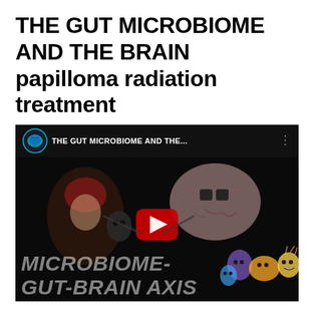THE GUT MICROBIOME AND THE BRAIN papilloma radiation treatment
[Figure (screenshot): YouTube video thumbnail showing 'THE GUT MICROBIOME AND THE...' with channel icon. The thumbnail features animated cartoon characters — a brain character and gut microbiome characters — on a dark background, with a YouTube play button in the center. Text overlay reads 'MICROBIOME-GUT-BRAIN AXIS' in large bold italic gray letters.]